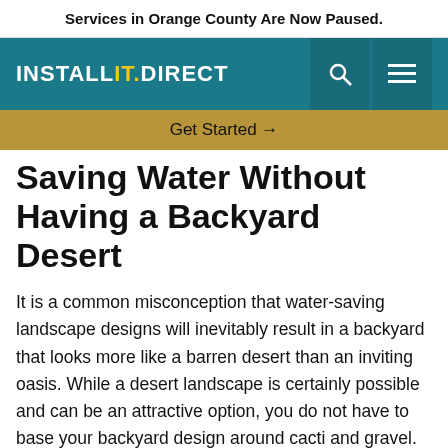Services in Orange County Are Now Paused.
[Figure (logo): INSTALLIT.DIRECT logo in white text on teal background with search and menu icons]
Get Started →
Saving Water Without Having a Backyard Desert
It is a common misconception that water-saving landscape designs will inevitably result in a backyard that looks more like a barren desert than an inviting oasis. While a desert landscape is certainly possible and can be an attractive option, you do not have to base your backyard design around cacti and gravel.